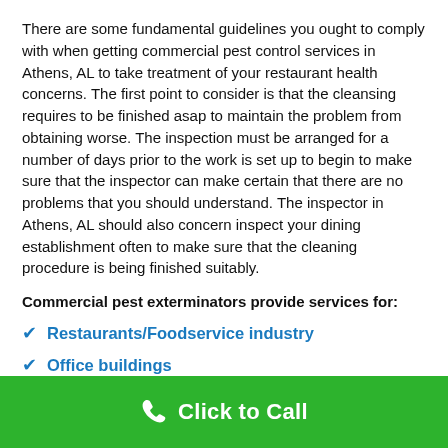There are some fundamental guidelines you ought to comply with when getting commercial pest control services in Athens, AL to take treatment of your restaurant health concerns. The first point to consider is that the cleansing requires to be finished asap to maintain the problem from obtaining worse. The inspection must be arranged for a number of days prior to the work is set up to begin to make sure that the inspector can make certain that there are no problems that you should understand. The inspector in Athens, AL should also concern inspect your dining establishment often to make sure that the cleaning procedure is being finished suitably.
Commercial pest exterminators provide services for:
Restaurants/Foodservice industry
Office buildings
Click to Call